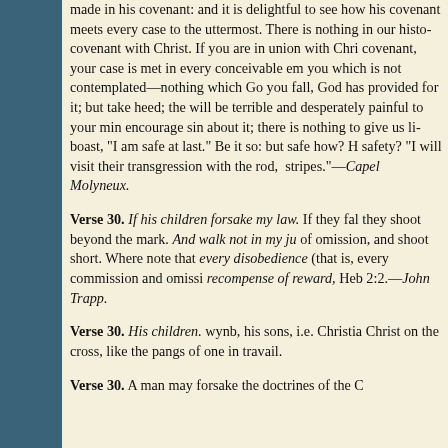made in his covenant: and it is delightful to see how his covenant meets every case to the uttermost. There is nothing in our history outside the covenant with Christ. If you are in union with Christ by faith in that covenant, your case is met in every conceivable emergency. There is nothing happening to you which is not contemplated—nothing which God has not provided for. If you fall, God has provided for it; but take heed; the fall of a Christian will be terrible and desperately painful to your mind. There is nothing to encourage sin about it; there is nothing to give us license to sin, or to boast, "I am safe at last." Be it so: but safe how? How is it a pleasant safety? "I will visit their transgression with the rod, and their iniquity with stripes."—Capel Molyneux.
Verse 30. If his children forsake my law. If they fall into sins of commission, they shoot beyond the mark. And walk not in my judgments. Sins of omission, and shoot short. Where note that every sin is a disobedience (that is, every commission and omission) received a just recompense of reward, Heb 2:2.—John Trapp.
Verse 30. His children. wynb, his sons, i.e. Christians born again, born of Christ on the cross, like the pangs of one in travail.
Verse 30. A man may forsake the doctrines of the Church...